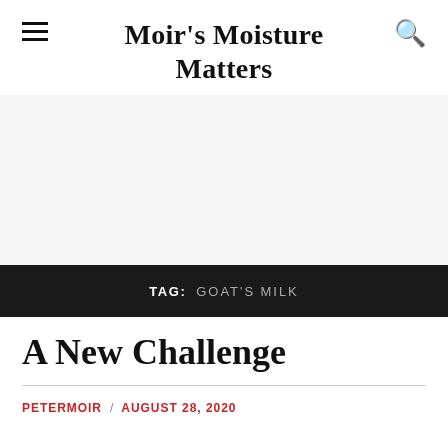Moir's Moisture Matters
TAG: GOAT'S MILK
A New Challenge
PETERMOIR / AUGUST 28, 2020